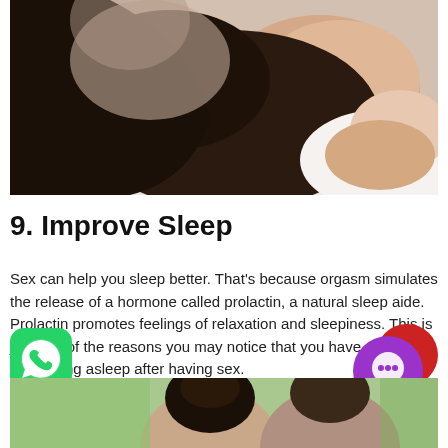[Figure (photo): Two people sleeping in bed, woman in foreground with dark hair, man behind her, on white pillows]
9. Improve Sleep
Sex can help you sleep better. That’s because orgasm simulates the release of a hormone called prolactin, a natural sleep aide. Prolactin promotes feelings of relaxation and sleepiness. This is just one of the reasons you may notice that you have an easier time falling asleep after having sex.
[Figure (photo): Bottom partial image showing two people, one with hair up, another with short hair, outdoor background]